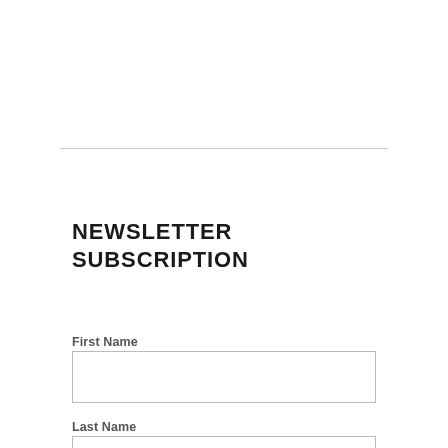NEWSLETTER SUBSCRIPTION
First Name
Last Name